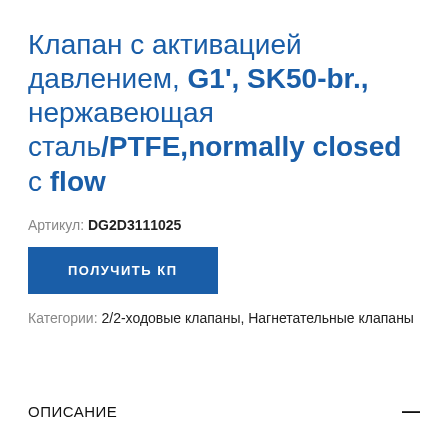Клапан с активацией давлением, G1', SK50-br., нержавеющая сталь/PTFE,normally closed с flow
Артикул: DG2D3111025
ПОЛУЧИТЬ КП
Категории: 2/2-ходовые клапаны, Нагнетательные клапаны
ОПИСАНИЕ